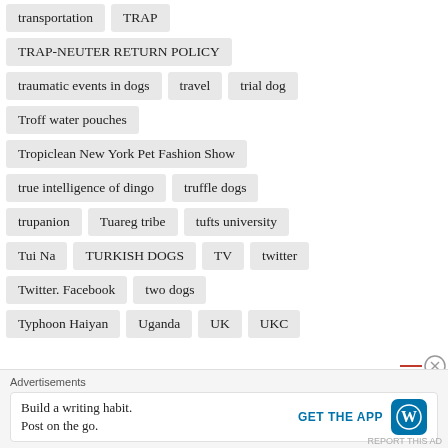transportation
TRAP
TRAP-NEUTER RETURN POLICY
traumatic events in dogs
travel
trial dog
Troff water pouches
Tropiclean New York Pet Fashion Show
true intelligence of dingo
truffle dogs
trupanion
Tuareg tribe
tufts university
Tui Na
TURKISH DOGS
TV
twitter
Twitter. Facebook
two dogs
Typhoon Haiyan
Uganda
UK
UKC
Advertisements
Build a writing habit. Post on the go. GET THE APP